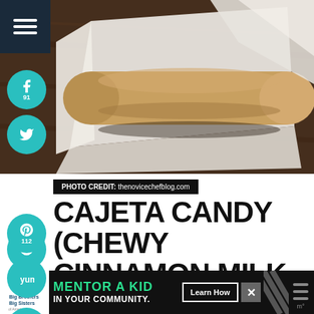[Figure (photo): Cajeta candy roll wrapped in white parchment paper on a dark wooden surface]
PHOTO CREDIT: thenovicechefblog.com
CAJETA CANDY (CHEWY CINNAMON MILK CANDY)
[Figure (infographic): Advertisement banner: Big Brothers Big Sisters - MENTOR A KID IN YOUR COMMUNITY. Learn How button]